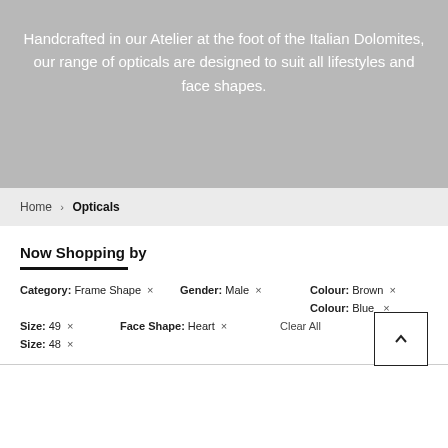Handcrafted in our Atelier at the foot of the Italian Dolomites, our range of opticals are designed to suit all lifestyles and face shapes.
Home › Opticals
Now Shopping by
Category: Frame Shape ×
Gender: Male ×
Colour: Brown ×
Colour: Blue ×
Size: 49 ×
Face Shape: Heart ×
Clear All
Size: 48 ×